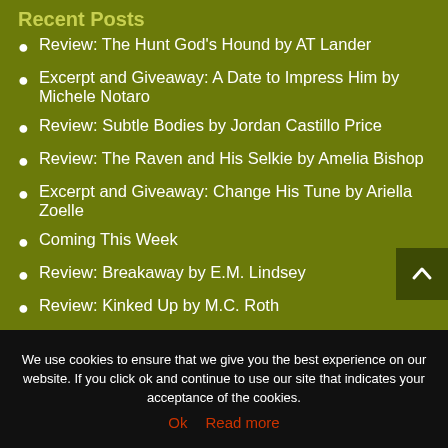Recent Posts
Review: The Hunt God's Hound by AT Lander
Excerpt and Giveaway: A Date to Impress Him by Michele Notaro
Review: Subtle Bodies by Jordan Castillo Price
Review: The Raven and His Selkie by Amelia Bishop
Excerpt and Giveaway: Change His Tune by Ariella Zoelle
Coming This Week
Review: Breakaway by E.M. Lindsey
Review: Kinked Up by M.C. Roth
We use cookies to ensure that we give you the best experience on our website. If you click ok and continue to use our site that indicates your acceptance of the cookies.
Ok   Read more